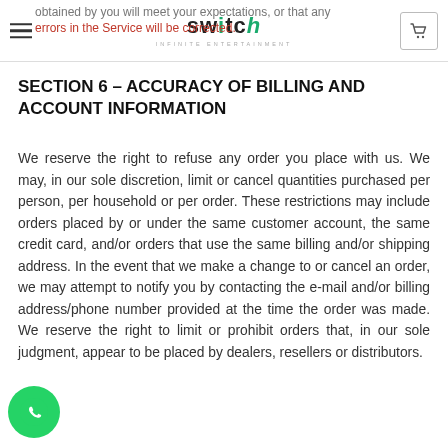Switch Infinite Entertainment — navigation header with logo and cart icon
obtained by you will meet your expectations, or that any errors in the Service will be corrected.
SECTION 6 – ACCURACY OF BILLING AND ACCOUNT INFORMATION
We reserve the right to refuse any order you place with us. We may, in our sole discretion, limit or cancel quantities purchased per person, per household or per order. These restrictions may include orders placed by or under the same customer account, the same credit card, and/or orders that use the same billing and/or shipping address. In the event that we make a change to or cancel an order, we may attempt to notify you by contacting the e-mail and/or billing address/phone number provided at the time the order was made. We reserve the right to limit or prohibit orders that, in our sole judgment, appear to be placed by dealers, resellers or distributors.